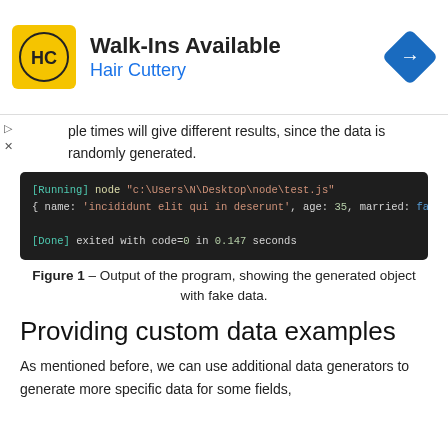[Figure (other): Hair Cuttery advertisement banner with logo, 'Walk-Ins Available' heading, and navigation icon]
ple times will give different results, since the data is randomly generated.
[Figure (screenshot): Terminal output showing: [Running] node "c:\Users\N\Desktop\node\test.js" { name: 'incididunt elit qui in deserunt', age: 35, married: false } [Done] exited with code=0 in 0.147 seconds]
Figure 1 – Output of the program, showing the generated object with fake data.
Providing custom data examples
As mentioned before, we can use additional data generators to generate more specific data for some fields, if...